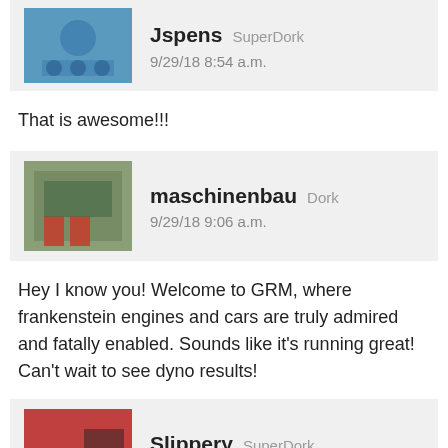Jspens  SuperDork
9/29/18 8:54 a.m.
That is awesome!!!
maschinenbau  Dork
9/29/18 9:06 a.m.
Hey I know you! Welcome to GRM, where frankenstein engines and cars are truly admired and fatally enabled. Sounds like it's running great! Can't wait to see dyno results!
Slippery  SuperDork
9/29/18 9:19 a.m.
Incredible!
When do you guys plan on taking it to the dyno?